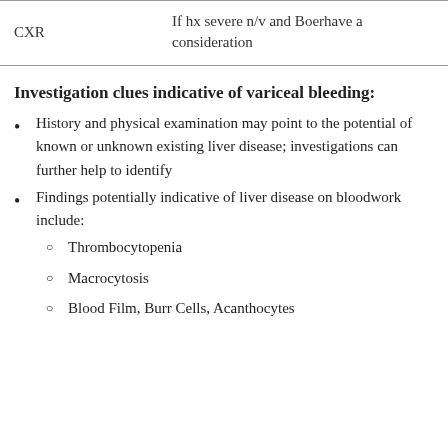|  |  |
| --- | --- |
| CXR | If hx severe n/v and Boerhave a consideration |
Investigation clues indicative of variceal bleeding:
History and physical examination may point to the potential of known or unknown existing liver disease; investigations can further help to identify
Findings potentially indicative of liver disease on bloodwork include:
Thrombocytopenia
Macrocytosis
Blood Film, Burr Cells, Acanthocytes